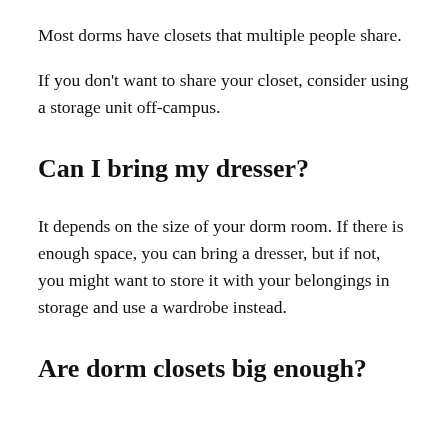Most dorms have closets that multiple people share.
If you don't want to share your closet, consider using a storage unit off-campus.
Can I bring my dresser?
It depends on the size of your dorm room. If there is enough space, you can bring a dresser, but if not, you might want to store it with your belongings in storage and use a wardrobe instead.
Are dorm closets big enough?